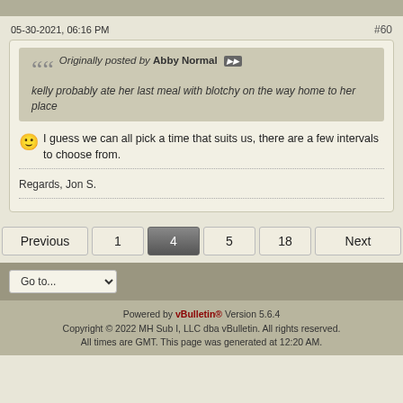05-30-2021, 06:16 PM
#60
Originally posted by Abby Normal
kelly probably ate her last meal with blotchy on the way home to her place
I guess we can all pick a time that suits us, there are a few intervals to choose from.
Regards, Jon S.
Previous 1 4 5 18 Next
Go to...
Powered by vBulletin® Version 5.6.4
Copyright © 2022 MH Sub I, LLC dba vBulletin. All rights reserved.
All times are GMT. This page was generated at 12:20 AM.